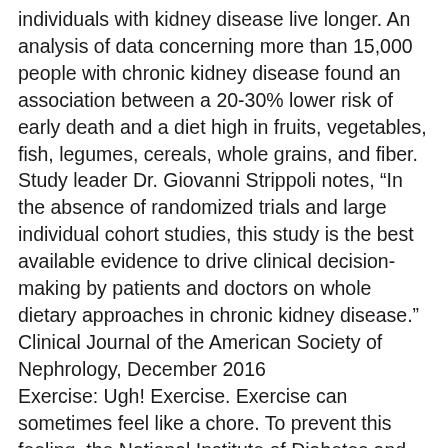individuals with kidney disease live longer. An analysis of data concerning more than 15,000 people with chronic kidney disease found an association between a 20-30% lower risk of early death and a diet high in fruits, vegetables, fish, legumes, cereals, whole grains, and fiber. Study leader Dr. Giovanni Strippoli notes, “In the absence of randomized trials and large individual cohort studies, this study is the best available evidence to drive clinical decision-making by patients and doctors on whole dietary approaches in chronic kidney disease.” Clinical Journal of the American Society of Nephrology, December 2016
Exercise: Ugh! Exercise. Exercise can sometimes feel like a chore. To prevent this feeling, the National Institute of Diabetes and Digestive and Kidney Diseases recommends the following: join a walking group or exercise class; ask a friend to exercise with you; build a small garden in your backyard, neighborhood, or community; perform three ten-minute exercise sessions during your day instead of a long workout; switch up your workout so you don’t get bored; and if you